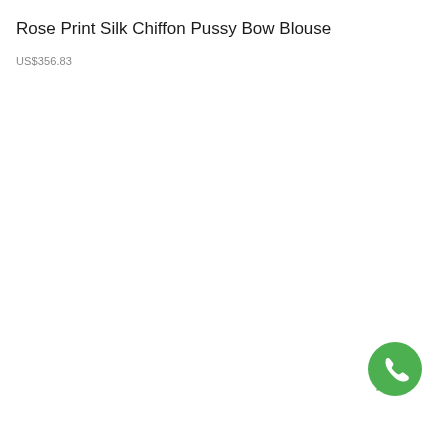Rose Print Silk Chiffon Pussy Bow Blouse
US$356.83
[Figure (logo): Green WhatsApp-style phone call bubble icon in the bottom-right corner]